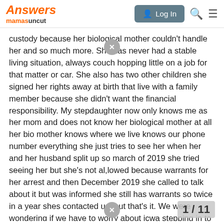Answers mamasuncut | Log In
custody because her biological mother couldn't handle her and so much more. She has never had a stable living situation, always couch hopping little on a job for that matter or car. She also has two other children she signed her rights away at birth that live with a family member because she didn't want the financial responsibility. My stepdaughter now only knows me as her mom and does not know her biological mother at all her bio mother knows where we live knows our phone number everything she just tries to see her when her and her husband split up so march of 2019 she tried seeing her but she's not al,lowed because warrants for her arrest and then December 2019 she called to talk about it but was informed she still has warrants so twice in a year shes contacted us, but that's it. We were wondering if we have to worry about icwa stepping in to stop the adoption or give her awful biological mother custody (we do have a lawyer, and he's been trying to get us th yet) as of right now the native Americai
1 / 11